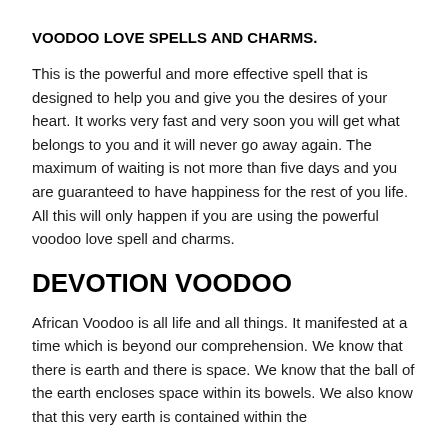VOODOO LOVE SPELLS AND CHARMS.
This is the powerful and more effective spell that is designed to help you and give you the desires of your heart. It works very fast and very soon you will get what belongs to you and it will never go away again. The maximum of waiting is not more than five days and you are guaranteed to have happiness for the rest of you life. All this will only happen if you are using the powerful voodoo love spell and charms.
DEVOTION VOODOO
African Voodoo is all life and all things. It manifested at a time which is beyond our comprehension. We know that there is earth and there is space. We know that the ball of the earth encloses space within its bowels. We also know that this very earth is contained within the